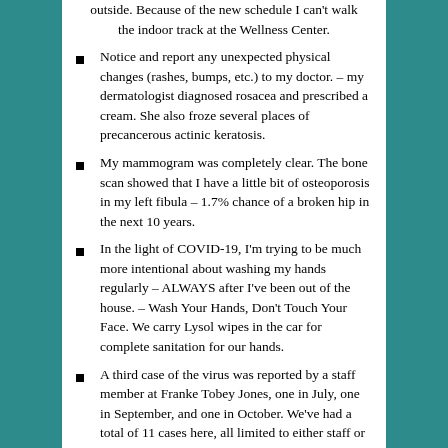outside. Because of the new schedule I can't walk the indoor track at the Wellness Center.
Notice and report any unexpected physical changes (rashes, bumps, etc.) to my doctor. – my dermatologist diagnosed rosacea and prescribed a cream. She also froze several places of precancerous actinic keratosis.
My mammogram was completely clear. The bone scan showed that I have a little bit of osteoporosis in my left fibula – 1.7% chance of a broken hip in the next 10 years.
In the light of COVID-19, I'm trying to be much more intentional about washing my hands regularly – ALWAYS after I've been out of the house. – Wash Your Hands, Don't Touch Your Face. We carry Lysol wipes in the car for complete sanitation for our hands.
A third case of the virus was reported by a staff member at Franke Tobey Jones, one in July, one in September, and one in October. We've had a total of 11 cases here, all limited to either staff or residents in the Skilled Nursing facility. They have a